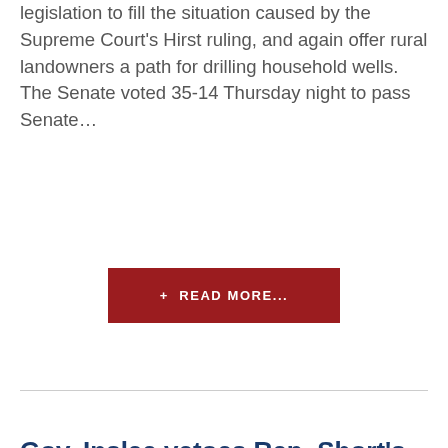legislation to fill the situation caused by the Supreme Court's Hirst ruling, and again offer rural landowners a path for drilling household wells. The Senate voted 35-14 Thursday night to pass Senate…
+ READ MORE...
Gov. Inslee vetoes Rep. Short's bill to help rural